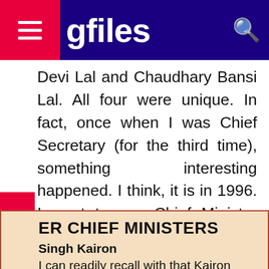gfiles
Devi Lal and Chaudhary Bansi Lal. All four were unique. In fact, once when I was Chief Secretary (for the third time), something interesting happened. I think, it is in 1996. I went to see Chief Minister Bansi Lal on official work. He asked me to sit comfortably before I could even open the official discussion. He asked me to compare him with Chaudhary Bhajan Lal as Chief Minister.
ER CHIEF MINISTERS
Singh Kairon
I can readily recall with that Kairon